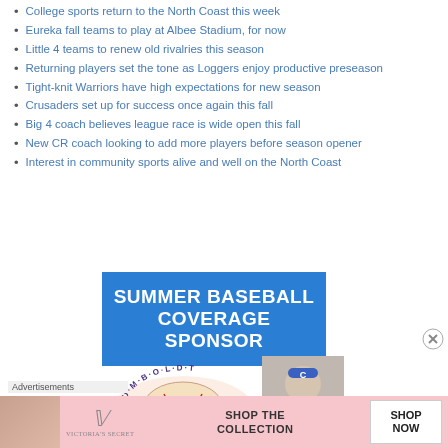College sports return to the North Coast this week
Eureka fall teams to play at Albee Stadium, for now
Little 4 teams to renew old rivalries this season
Returning players set the tone as Loggers enjoy productive preseason
Tight-knit Warriors have high expectations for new season
Crusaders set up for success once again this fall
Big 4 coach believes league race is wide open this fall
New CR coach looking to add more players before season opener
Interest in community sports alive and well on the North Coast
[Figure (illustration): Summer Baseball Coverage Sponsor advertisement with Humboldt Crabs logo and a baseball player photo]
Advertisements
[Figure (illustration): Victoria's Secret advertisement - Shop the Collection, Shop Now]